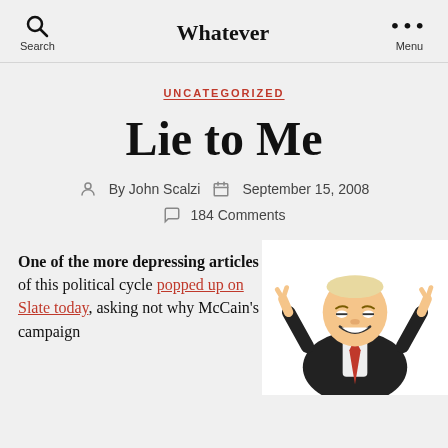Search  Whatever  Menu
UNCATEGORIZED
Lie to Me
By John Scalzi  September 15, 2008  184 Comments
One of the more depressing articles of this political cycle popped up on Slate today, asking not why McCain's campaign
[Figure (illustration): Cartoon caricature of a politician in a suit making air-quotes gesture with both hands, smiling]